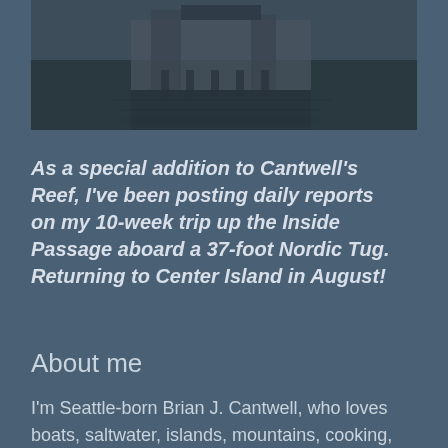[Figure (photo): Black and white photograph of a building or dock structure reflected in water, partially visible at the top of the page.]
As a special addition to Cantwell's Reef, I've been posting daily reports on my 10-week trip up the Inside Passage aboard a 37-foot Nordic Tug. Returning to Center Island in August!
About me
I'm Seattle-born Brian J. Cantwell, who loves boats, saltwater, islands, mountains, cooking, cycling, hiking, camping, and my dopey orange cat. I retired as travel-